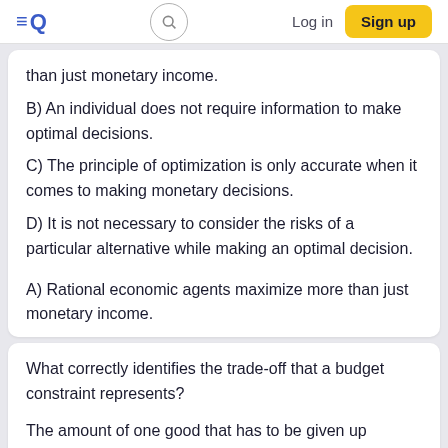EQ | Log in | Sign up
than just monetary income.
B) An individual does not require information to make optimal decisions.
C) The principle of optimization is only accurate when it comes to making monetary decisions.
D) It is not necessary to consider the risks of a particular alternative while making an optimal decision.
A) Rational economic agents maximize more than just monetary income.
What correctly identifies the trade-off that a budget constraint represents?
The amount of one good that has to be given up